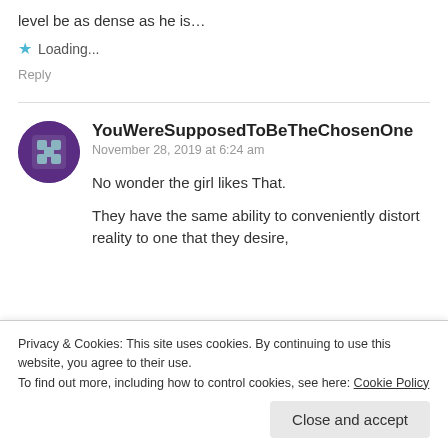level be as dense as he is…
★ Loading…
Reply
YouWereSupposedToBeTheChosenOne
November 28, 2019 at 6:24 am
No wonder the girl likes That.
They have the same ability to conveniently distort reality to one that they desire,
Privacy & Cookies: This site uses cookies. By continuing to use this website, you agree to their use.
To find out more, including how to control cookies, see here: Cookie Policy
Close and accept